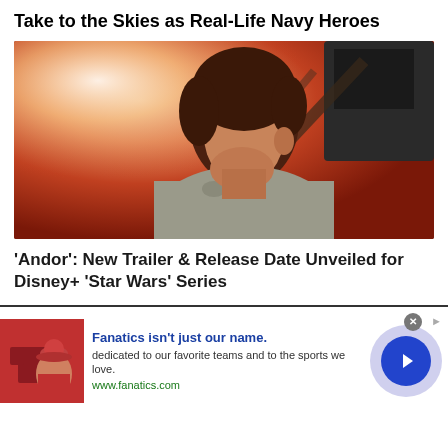Take to the Skies as Real-Life Navy Heroes
[Figure (photo): A man with medium-length dark hair looking to the right, inside a vehicle or aircraft cockpit, with orange/red sky or explosion visible in background. Movie or TV still from an action scene.]
'Andor': New Trailer & Release Date Unveiled for Disney+ 'Star Wars' Series
[Figure (infographic): Advertisement banner for Fanatics. Shows product images of sports apparel on the left, ad copy text in the center (Fanatics isn't just our name. dedicated to our favorite teams and to the sports we love. www.fanatics.com), and a blue circular arrow button on the right with a lavender/purple background circle.]